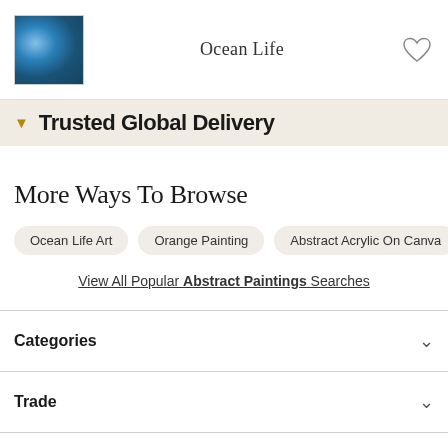Ocean Life
Trusted Global Delivery
More Ways To Browse
Ocean Life Art
Orange Painting
Abstract Acrylic On Canva...
View All Popular Abstract Paintings Searches
Categories
Trade
Sellers